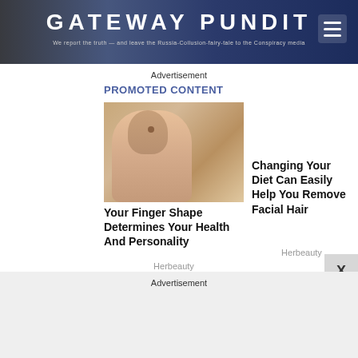[Figure (screenshot): Gateway Pundit website header with dark blue background, site name in large white letters, subtitle text, and hamburger menu icon]
Advertisement
PROMOTED CONTENT
[Figure (photo): Close-up photo of a hand/finger against a tan/beige background]
Your Finger Shape Determines Your Health And Personality
Herbeauty
Changing Your Diet Can Easily Help You Remove Facial Hair
Herbeauty
X
Advertisement